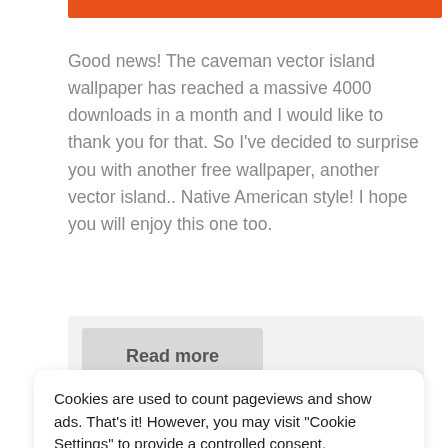[Figure (other): Orange decorative header bar]
Good news! The caveman vector island wallpaper has reached a massive 4000 downloads in a month and I would like to thank you for that. So I've decided to surprise you with another free wallpaper, another vector island.. Native American style! I hope you will enjoy this one too.
Read more
Filed under: Downloads
Cookies are used to count pageviews and show ads. That's it! However, you may visit "Cookie Settings" to provide a controlled consent.